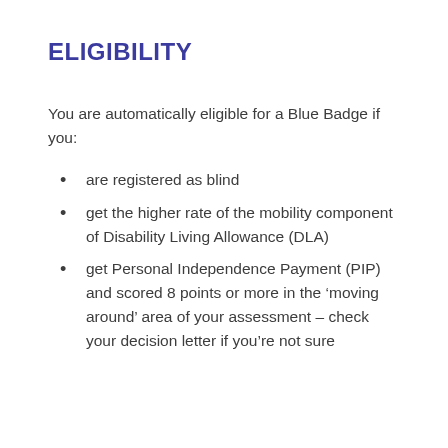ELIGIBILITY
You are automatically eligible for a Blue Badge if you:
are registered as blind
get the higher rate of the mobility component of Disability Living Allowance (DLA)
get Personal Independence Payment (PIP) and scored 8 points or more in the ‘moving around’ area of your assessment – check your decision letter if you’re not sure